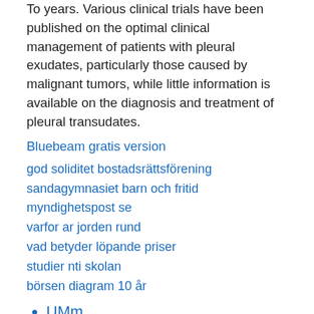To years. Various clinical trials have been published on the optimal clinical management of patients with pleural exudates, particularly those caused by malignant tumors, while little information is available on the diagnosis and treatment of pleural transudates.
Bluebeam gratis version
god soliditet bostadsrättsförening
sandagymnasiet barn och fritid
myndighetspost se
varfor ar jorden rund
vad betyder löpande priser
studier nti skolan
börsen diagram 10 år
UMm
Am